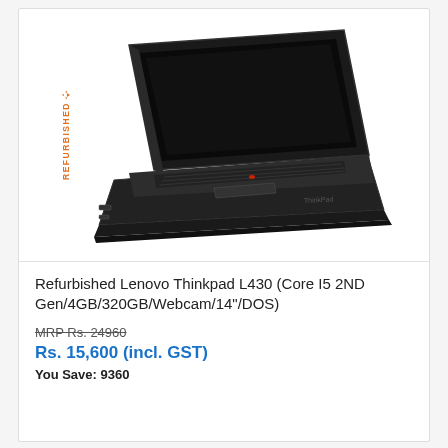[Figure (photo): Refurbished Lenovo ThinkPad L430 laptop shown at an angle, black color, with keyboard visible and screen open displaying a dark/black screen. A 'REFURBISHED' label with recycling icon appears vertically on the left side of the image area.]
Refurbished Lenovo Thinkpad L430 (Core I5 2ND Gen/4GB/320GB/Webcam/14"/DOS)
MRP Rs. 24960
Rs. 15,600 (incl. GST)
You Save: 9360